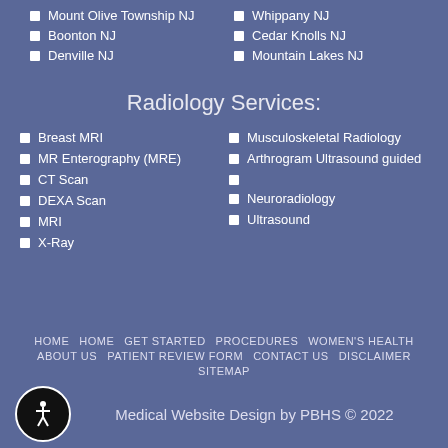Mount Olive Township NJ
Whippany NJ
Boonton NJ
Cedar Knolls NJ
Denville NJ
Mountain Lakes NJ
Radiology Services:
Breast MRI
Musculoskeletal Radiology
MR Enterography (MRE)
Arthrogram Ultrasound guided
CT Scan
DEXA Scan
Neuroradiology
MRI
Ultrasound
X-Ray
HOME  HOME  GET STARTED  PROCEDURES  WOMEN'S HEALTH  ABOUT US  PATIENT REVIEW FORM  CONTACT US  DISCLAIMER  SITEMAP
Medical Website Design by PBHS © 2022